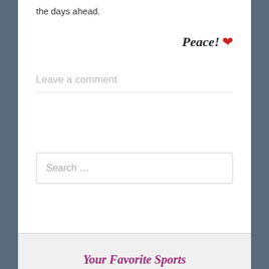the days ahead.
Peace! ❤
Leave a comment
Search …